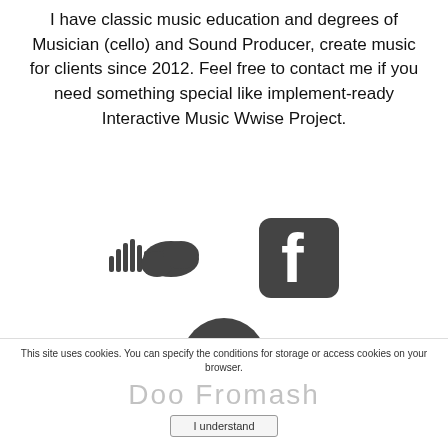I have classic music education and degrees of Musician (cello) and Sound Producer, create music for clients since 2012. Feel free to contact me if you need something special like implement-ready Interactive Music Wwise Project.
[Figure (illustration): SoundCloud logo icon (cloud with sound waves) in dark gray]
[Figure (illustration): Facebook logo icon (rounded square with 'f') in dark gray]
[Figure (illustration): Spotify logo icon (circle with sound wave lines) in dark gray]
This site uses cookies. You can specify the conditions for storage or access cookies on your browser.
Doo Fromash
I understand